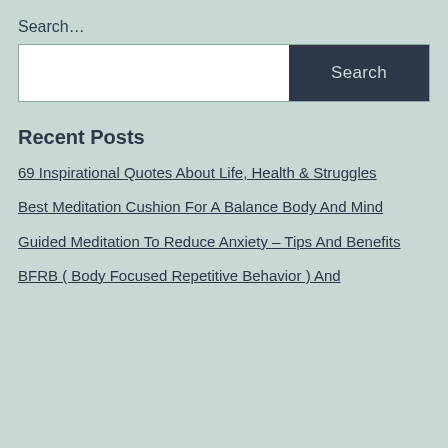Search…
[Figure (other): Search input field with a white text box on the left and a dark navy 'Search' button on the right]
Recent Posts
69 Inspirational Quotes About Life, Health & Struggles
Best Meditation Cushion For A Balance Body And Mind
Guided Meditation To Reduce Anxiety – Tips And Benefits
BFRB ( Body Focused Repetitive Behavior ) And